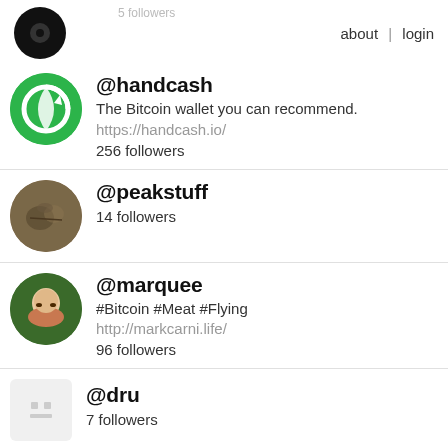5 followers   about | login
@handcash
The Bitcoin wallet you can recommend.
https://handcash.io/
256 followers
@peakstuff
14 followers
@marquee
#Bitcoin #Meat #Flying
http://markcarni.life/
96 followers
@dru
7 followers
@hashamura
BitcoinSV Miner 🌍 Traveller 🌍 Yaker 🌍 Twetch: u/7531 #BrightGang 🌐 HandCash: $Hashamura